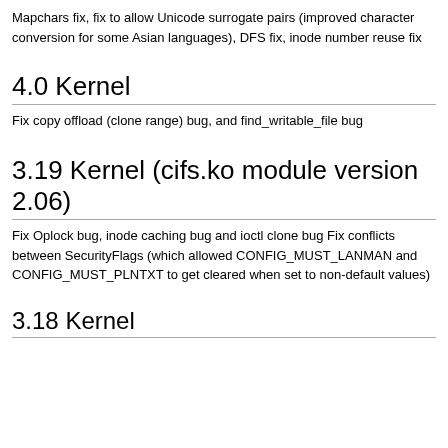Mapchars fix, fix to allow Unicode surrogate pairs (improved character conversion for some Asian languages), DFS fix, inode number reuse fix
4.0 Kernel
Fix copy offload (clone range) bug, and find_writable_file bug
3.19 Kernel (cifs.ko module version 2.06)
Fix Oplock bug, inode caching bug and ioctl clone bug Fix conflicts between SecurityFlags (which allowed CONFIG_MUST_LANMAN and CONFIG_MUST_PLNTXT to get cleared when set to non-default values)
3.18 Kernel